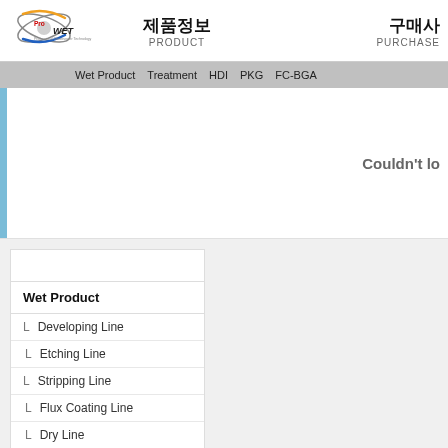ProWET logo — 제품정보 PRODUCT | 구매사 PURCHASE
한국어 | Wet Product | Treatment | HDI | PKG | FC-BGA
Couldn't lo
한국어한국어한국어
Wet Product
L  Developing Line
L  Etching Line
L  Stripping Line
L  Flux Coating Line
L  Dry Line
L  The others